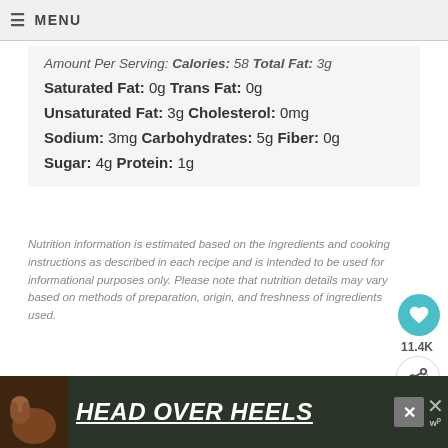≡ MENU
Amount Per Serving:  Calories: 58  Total Fat: 3g  Saturated Fat: 0g  Trans Fat: 0g  Unsaturated Fat: 3g  Cholesterol: 0mg  Sodium: 3mg  Carbohydrates: 5g  Fiber: 0g  Sugar: 4g  Protein: 1g
Nutrition information is estimated based on the ingredients and cooking instructions as described in each recipe and is intended to be used for informational purposes only. Please note that nutrition details may vary based on methods of preparation, origin, and freshness of ingredients used.
MAKING THIS RECIPE? with us on Instagram using the hashtag #TidyMom so we can see
WHAT'S NEXT → WILD RICE STUFFING...
[Figure (other): Advertisement banner: HEAD OVER HEELS with dog image]
11.4K